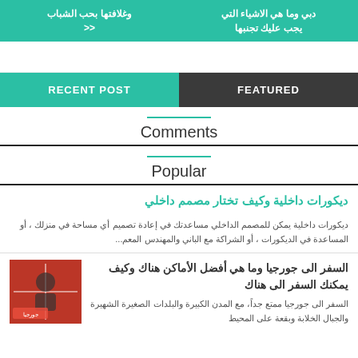[Figure (other): Two teal navigation buttons side by side with Arabic text]
RECENT POST | FEATURED
Comments
Popular
ديكورات داخلية وكيف تختار مصمم داخلي
ديكورات داخلية يمكن للمصمم الداخلي مساعدتك في إعادة تصميم أي مساحة في منزلك ، أو المساعدة في الديكورات ، أو الشراكة مع الباني والمهندس المعم...
[Figure (photo): Thumbnail photo of a person with Georgia flag imagery]
السفر الى جورجيا وما هي أفضل الأماكن هناك وكيف يمكنك السفر الى هناك
السفر الى جورجيا ممتع جداً، مع المدن الكبيرة والبلدات الصغيرة الشهيرة والجبال الخلابة وبقعة على المحيط